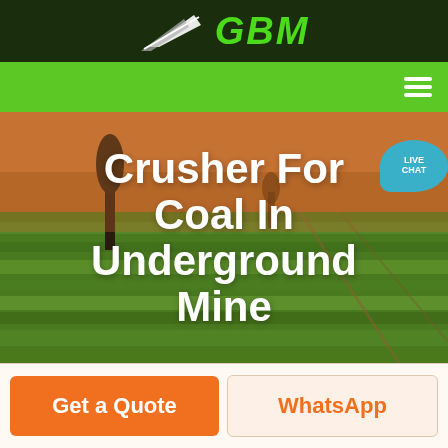[Figure (logo): GBM company logo with stylized arrow/leaf icon in white/green on dark green background, with bold italic green text 'GBM']
[Figure (screenshot): Green navigation bar with hamburger menu icon on right, and a teal live chat speech bubble overlay in top right corner with text 'LIVE CHAT']
[Figure (photo): Aerial landscape photograph of rolling green and golden fields with a lone tree, used as hero background image]
Crusher For Coal In Underground Mine
Get a Quote
WhatsApp